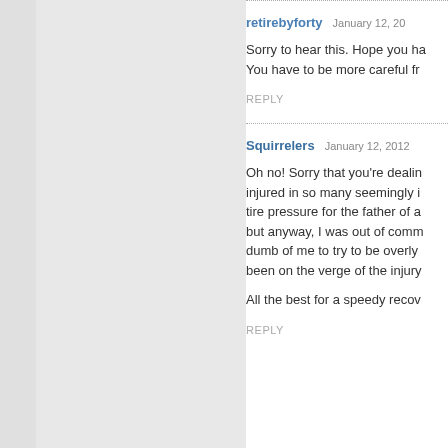retirebyforty   January 12, 20...
Sorry to hear this. Hope you ha... You have to be more careful fr...
REPLY
Squirrelers   January 12, 2012
Oh no! Sorry that you're dealin... injured in so many seemingly i... tire pressure for the father of a... but anyway, I was out of comm... dumb of me to try to be overly ... been on the verge of the injury ...
All the best for a speedy recov...
REPLY